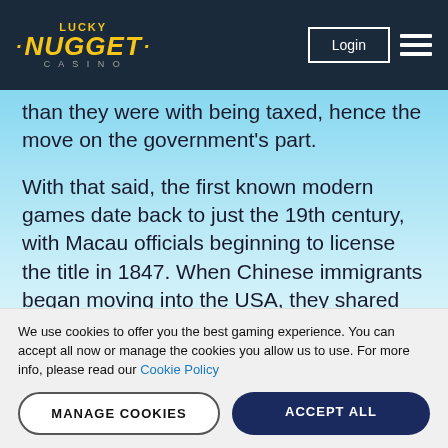Lucky Nugget Casino — Login
than they were with being taxed, hence the move on the government's part.
With that said, the first known modern games date back to just the 19th century, with Macau officials beginning to license the title in 1847. When Chinese immigrants began moving into the USA, they shared the game with the local inhabitants, who began to customise it and feature it at popular casinos nationwide. The name ‘Keno’ as we know it actually originated from Houston,
We use cookies to offer you the best gaming experience. You can accept all now or manage the cookies you allow us to use. For more info, please read our Cookie Policy
MANAGE COOKIES
ACCEPT ALL